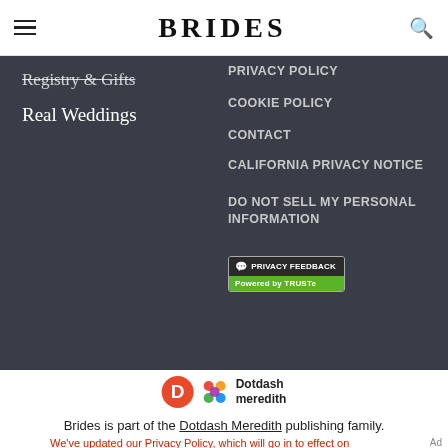BRIDES
Registry & Gifts
Real Weddings
PRIVACY POLICY
COOKIE POLICY
CONTACT
CALIFORNIA PRIVACY NOTICE
DO NOT SELL MY PERSONAL INFORMATION
[Figure (logo): Privacy Feedback / Powered by TRUSTe badge]
[Figure (logo): Dotdash Meredith logo]
Brides is part of the Dotdash Meredith publishing family.
We've updated our Privacy Policy, which will go in to effect on
[Figure (logo): Dotdash Meredith advertisement banner: We help people find answers, solve problems and get inspired.]